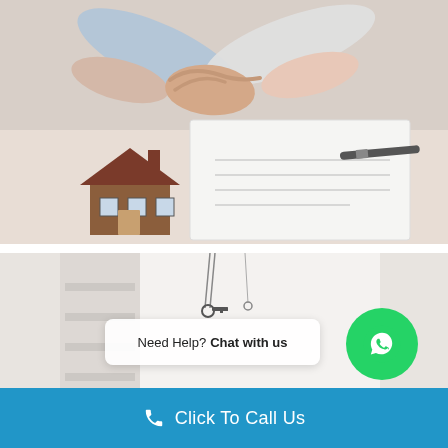[Figure (photo): Two people shaking hands over a table with a small house model and a document with a pen, representing a real estate or insurance deal signing]
[Figure (photo): Interior of a bright modern home hallway with keys hanging, shelves visible, and a person partially visible in background]
Need Help? Chat with us
Click To Call Us